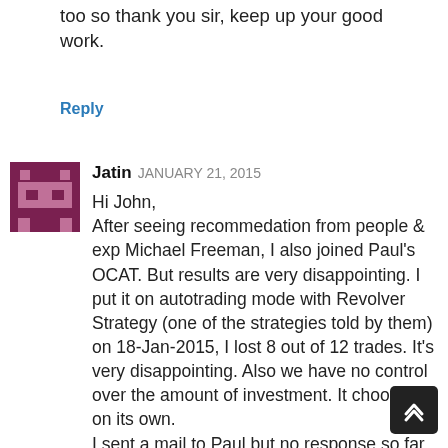too so thank you sir, keep up your good work.
Reply
[Figure (illustration): Pixel art avatar icon with purple/burgundy colors showing a stylized face]
Jatin JANUARY 21, 2015
Hi John,
After seeing recommedation from people & exp Michael Freeman, I also joined Paul's OCAT. But results are very disappointing. I put it on autotrading mode with Revolver Strategy (one of the strategies told by them) on 18-Jan-2015, I lost 8 out of 12 trades. It's very disappointing. Also we have no control over the amount of investment. It chooses on its own.
I sent a mail to Paul but no response so far.
Reply